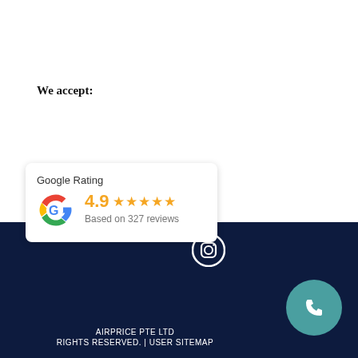We accept:
[Figure (infographic): Google Rating widget showing 4.9 stars based on 327 reviews, with Google G logo in red/yellow/green/blue colors]
[Figure (illustration): Instagram icon (camera outline in white circle) in the footer dark navy bar]
[Figure (illustration): Phone icon in teal circle, bottom right]
AIRPRICE PTE LTD RIGHTS RESERVED. | USER SITEMAP